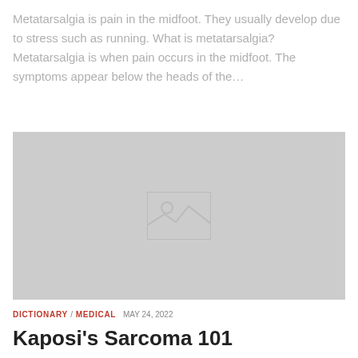Metatarsalgia is pain in the midfoot. They usually develop due to stress such as running. What is metatarsalgia? Metatarsalgia is when pain occurs in the midfoot. The symptoms appear below the heads of the...
[Figure (photo): Gray placeholder image representing a medical illustration or photo related to Kaposi's Sarcoma, with a faint watermark/icon in the center]
DICTIONARY / MEDICAL  MAY 24, 2022
Kaposi's Sarcoma 101
If the...